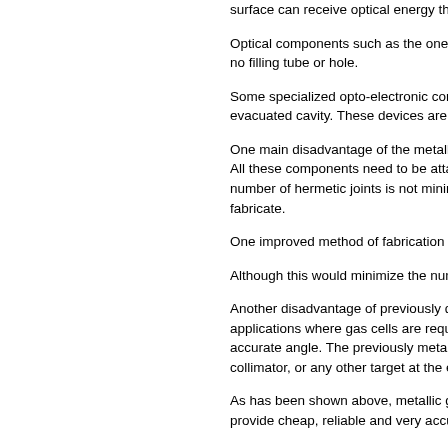surface can receive optical energy through the
Optical components such as the ones described have no filling tube or hole.
Some specialized opto-electronic components, evacuated cavity. These devices are not design
One main disadvantage of the metallic gas cell. All these components need to be attached together. number of hermetic joints is not minimized, a si fabricate.
One improved method of fabrication for these r
Although this would minimize the number of he
Another disadvantage of previously described applications where gas cells are required, the li accurate angle. The previously metallic gas cell collimator, or any other target at the exterior of
As has been shown above, metallic gas cells d provide cheap, reliable and very accurate gas c
There are applications where it is not sufficient. OSA. For example, a widely tunable laser may whole frequency tuning range of the laser, whic gases having various absorption lines at various be mixed because they react with one another, independent gas cells must be used, but each
interfaces the light beam must cross while going devices do not offer the